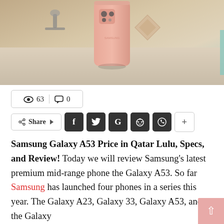[Figure (photo): Samsung Galaxy A53 smartphone in peach/pink color standing upright on a table, photographed from behind, showing the camera module. Background is a beige/neutral surface with decorative items.]
👁 63  💬 0
Share  f  y  G  reddit  whatsapp  +
Samsung Galaxy A53 Price in Qatar Lulu, Specs, and Review! Today we will review Samsung's latest premium mid-range phone the Galaxy A53. So far Samsung has launched four phones in a series this year. The Galaxy A23, Galaxy 33, Galaxy A53, and the Galaxy